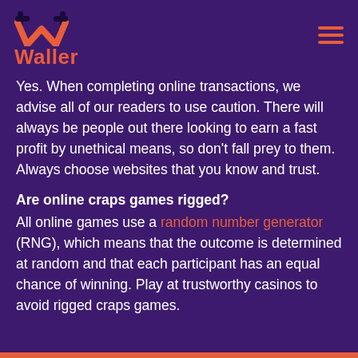Waller
Yes. When completing online transactions, we advise all of our readers to use caution. There will always be people out there looking to earn a fast profit by unethical means, so don't fall prey to them. Always choose websites that you know and trust.
Are online craps games rigged?
All online games use a random number generator (RNG), which means that the outcome is determined at random and that each participant has an equal chance of winning. Play at trustworthy casinos to avoid rigged craps games.